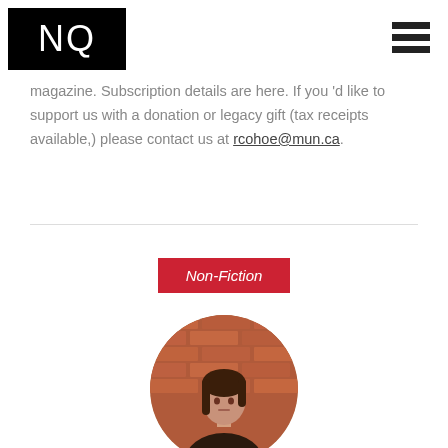[Figure (logo): NQ magazine logo — white NQ letters on black rectangle background]
[Figure (other): Hamburger menu icon — three horizontal black bars]
magazine. Subscription details are here. If you 'd like to support us with a donation or legacy gift (tax receipts available,) please contact us at rcohoe@mun.ca.
[Figure (other): Non-Fiction red badge/label]
[Figure (photo): Circular portrait photo of a young woman with dark hair standing in front of a brick wall]